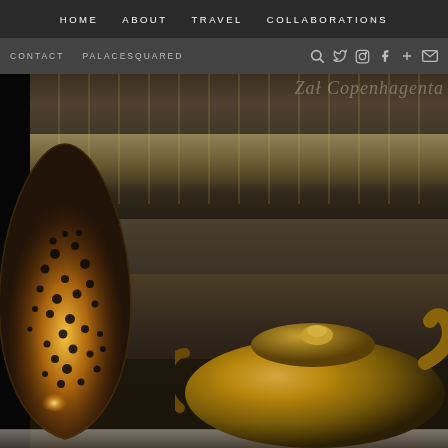HOME   ABOUT   TRAVEL   COLLABORATIONS
CONTACT   PALACESQUARED   [search icon]   [twitter] [instagram] [facebook] [plus] [email]
[Figure (photo): Night scene of a European (Copenhagen) pedestrian street with illuminated shopfronts and buildings, viewed from an outdoor cafe table. In the foreground is a decorative Moroccan-style lantern glowing from within and a gold/brass teapot on a white table.]